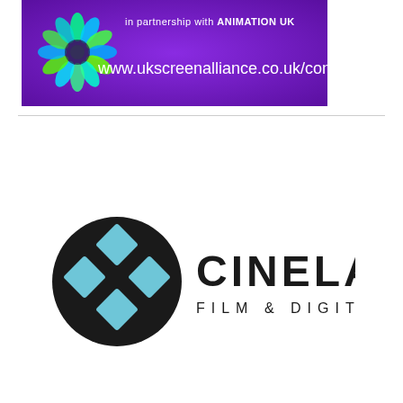[Figure (illustration): Purple banner advertisement for UK Screen Alliance in partnership with Animation UK, featuring a stylized flower/fractal graphic and the URL www.ukscreenalliance.co.uk/contact]
[Figure (logo): Cinelab Film & Digital logo: black circle with two cyan/blue diamond shapes arranged as a kite/chevron pattern, next to bold black text CINELAB with smaller spaced text FILM & DIGITAL below]